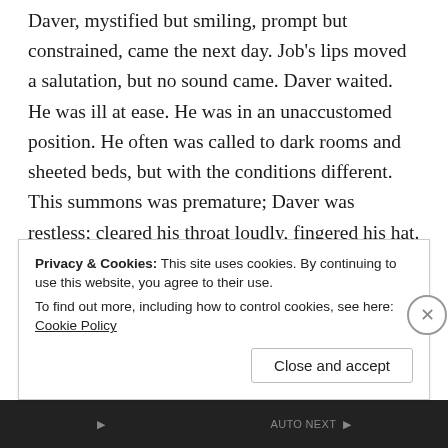Daver, mystified but smiling, prompt but constrained, came the next day. Job's lips moved a salutation, but no sound came. Daver waited. He was ill at ease. He was in an unaccustomed position. He often was called to dark rooms and sheeted beds, but with the conditions different. This summons was premature; Daver was restless; cleared his throat loudly, fingered his hat. “To be called here! To this house, of all houses! To this man, of all men!” Daver’s ruling principle was to please; always to gloss the painful stubborn fact; but ruling principles may be suspended; hearts, like states, may
Privacy & Cookies: This site uses cookies. By continuing to use this website, you agree to their use.
To find out more, including how to control cookies, see here: Cookie Policy
Close and accept